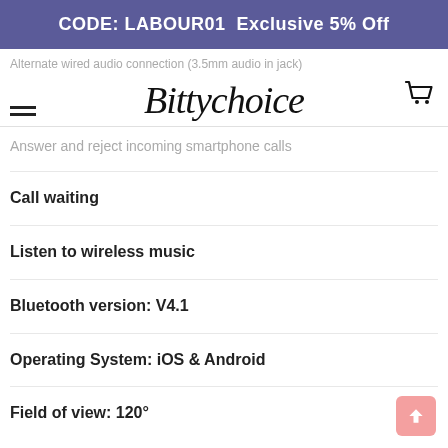CODE: LABOUR01  Exclusive 5% Off
Alternate wired audio connection (3.5mm audio in jack)
[Figure (logo): Bittychoice script logo]
Answer and reject incoming smartphone calls
Call waiting
Listen to wireless music
Bluetooth version: V4.1
Operating System: iOS & Android
Field of view: 120°